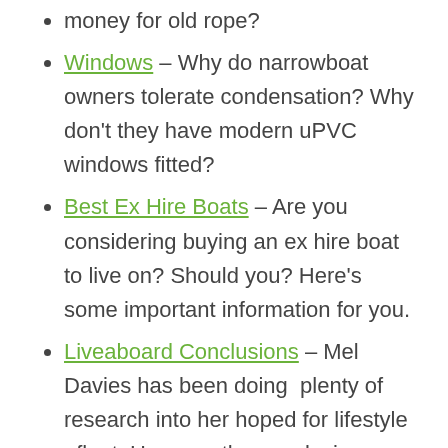money for old rope?
Windows – Why do narrowboat owners tolerate condensation? Why don't they have modern uPVC windows fitted?
Best Ex Hire Boats – Are you considering buying an ex hire boat to live on? Should you? Here's some important information for you.
Liveaboard Conclusions – Mel Davies has been doing  plenty of research into her hoped for lifestyle afloat. Here are the conclusions she's reached and